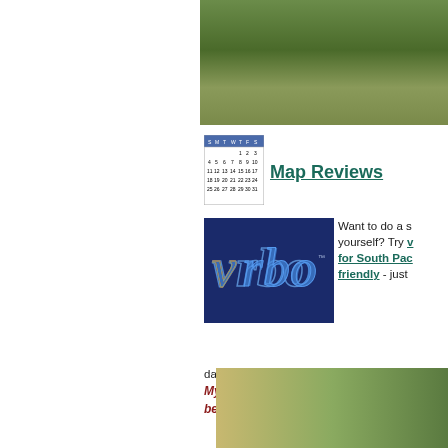[Figure (photo): Top photo of grassy/natural area, partially visible at top of page]
[Figure (other): Small calendar thumbnail image]
Map  Reviews
[Figure (logo): VRBO logo on dark blue background]
Want to do a search yourself? Try vrbo for South Pacific pet friendly - just dates and how many people you need...
My strawberry hand-picked selection is below!They have the best reviews...
[Figure (photo): Bottom photo showing a path/sidewalk with grass and a person]